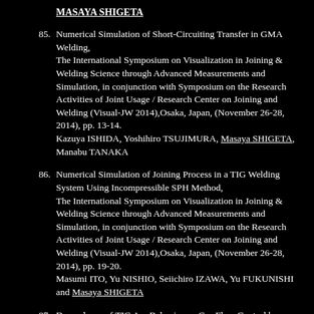MASAYA SHIGETA
85. Numerical Simulation of Short-Circuiting Transfer in GMA Welding, The International Symposium on Visualization in Joining & Welding Science through Advanced Measurements and Simulation, in conjunction with Symposium on the Research Activities of Joint Usage / Research Center on Joining and Welding (Visual-JW 2014),Osaka, Japan, (November 26-28, 2014), pp. 13-14. Kazuya ISHIDA, Yoshihiro TSUJIMURA, Masaya SHIGETA, Manabu TANAKA
86. Numerical Simulation of Joining Process in a TIG Welding System Using Incompressible SPH Method, The International Symposium on Visualization in Joining & Welding Science through Advanced Measurements and Simulation, in conjunction with Symposium on the Research Activities of Joint Usage / Research Center on Joining and Welding (Visual-JW 2014),Osaka, Japan, (November 26-28, 2014), pp. 19-20. Masumi ITO, Yu NISHIO, Seiichiro IZAWA, Yu FUKUNISHI and Masaya SHIGETA
87. Dependence of TIG Arc Behavior on Gas Flow Control by a